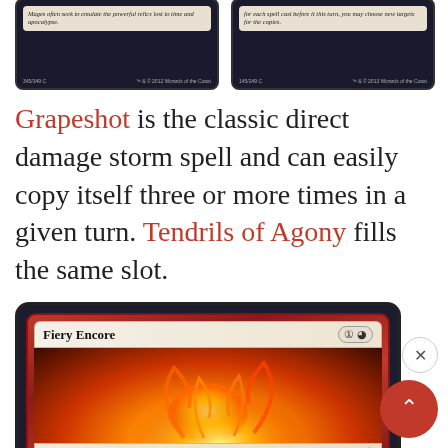[Figure (photo): Two Magic: The Gathering cards partially visible at top. Left card shows italic flavor text 'Mages often seek to emulate the powerful relics lost to time and apocalypse.' Right card shows italic rules text about choosing new targets for copies.]
Grapeshot is the classic direct damage storm spell and can easily copy itself three or more times in a given turn. Tendrils of Agony fills the same slot.
[Figure (photo): Magic: The Gathering card 'Fiery Encore' with mana cost 4R, Sorcery type, showing fiery artwork with orange and red flames and a glowing orb, partially cut off at bottom.]